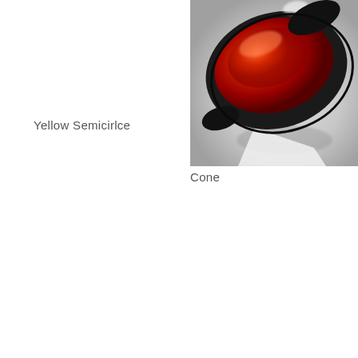Yellow Semicirlce
[Figure (photo): A glossy red and black cone-shaped glass sculpture resting on a light grey surface, viewed from above at an angle. The object has a deep red translucent center with black edges and highlights.]
Cone